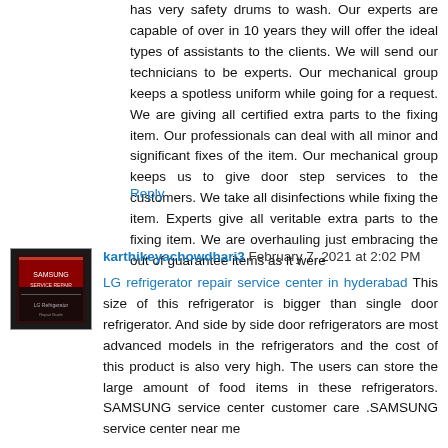has very safety drums to wash. Our experts are capable of over in 10 years they will offer the ideal types of assistants to the clients. We will send our technicians to be experts. Our mechanical group keeps a spotless uniform while going for a request. We are giving all certified extra parts to the fixing item. Our professionals can deal with all minor and significant fixes of the item. Our mechanical group keeps us to give door step services to the customers. We take all disinfections while fixing the item. Experts give all veritable extra parts to the fixing item. We are overhauling just embracing the out of guarantee items as it were
Reply
[Figure (photo): Avatar/profile image for user karthikeyachowdhari3 - dark red and black book cover style image]
karthikeyachowdhari3 February 7, 2021 at 2:02 PM
LG refrigerator repair service center in hyderabad This size of this refrigerator is bigger than single door refrigerator. And side by side door refrigerators are most advanced models in the refrigerators and the cost of this product is also very high. The users can store the large amount of food items in these refrigerators. SAMSUNG service center customer care .SAMSUNG service center near me